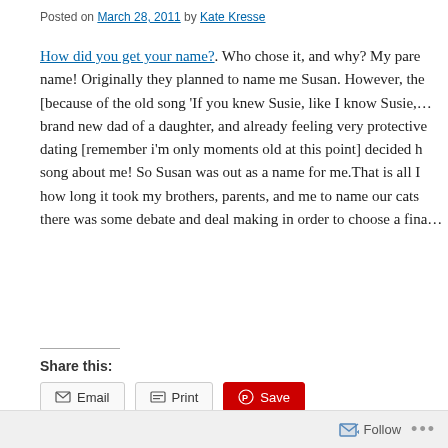Posted on March 28, 2011 by Kate Kresse
How did you get your name?. Who chose it, and why? My parents chose my name! Originally they planned to name me Susan. However, the nickname Susie [because of the old song 'If you knew Susie, like I know Susie,…'] my dad, brand new dad of a daughter, and already feeling very protective and against dating [remember i'm only moments old at this point] decided he didn't want a song about me! So Susan was out as a name for me.That is all I know, except how long it took my brothers, parents, and me to name our cats … let's just say there was some debate and deal making in order to choose a fina…
Share this:
Loading...
Follow ...